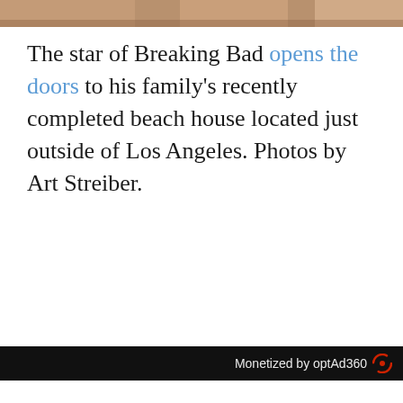[Figure (photo): Partial photo strip at top of page showing people, cropped]
The star of Breaking Bad opens the doors to his family's recently completed beach house located just outside of Los Angeles. Photos by Art Streiber.
Monetized by optAd360